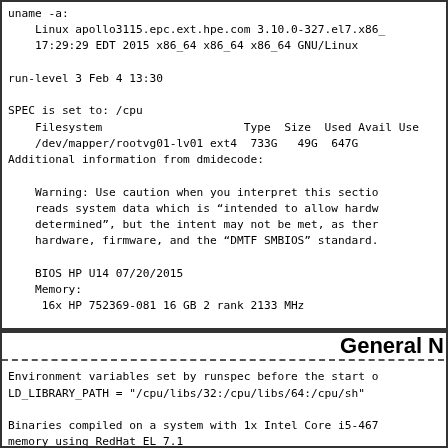uname -a:
    Linux apollo3115.epc.ext.hpe.com 3.10.0-327.el7.x86_
    17:29:29 EDT 2015 x86_64 x86_64 x86_64 GNU/Linux

run-level 3 Feb 4 13:30

SPEC is set to: /cpu
    Filesystem                     Type  Size  Used Avail Use
    /dev/mapper/rootvg01-lv01 ext4   733G   49G  647G
Additional information from dmidecode:

    Warning: Use caution when you interpret this sectio
    reads system data which is "intended to allow hardw
    determined", but the intent may not be met, as ther
    hardware, firmware, and the "DMTF SMBIOS" standard.

    BIOS HP U14 07/20/2015
    Memory:
     16x HP 752369-081 16 GB 2 rank 2133 MHz

(End of data from sysinfo program)
General N
Environment variables set by runspec before the start o
LD_LIBRARY_PATH = "/cpu/libs/32:/cpu/libs/64:/cpu/sh"

Binaries compiled on a system with 1x Intel Core i5-467
memory using RedHat EL 7.1